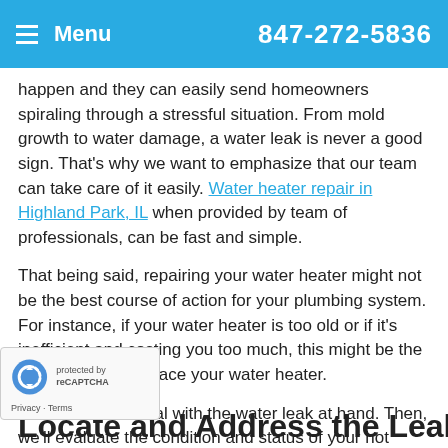Menu  847-272-5836
happen and they can easily send homeowners spiraling through a stressful situation. From mold growth to water damage, a water leak is never a good sign. That's why we want to emphasize that our team can take care of it easily. Water heater repair in Highland Park, IL when provided by team of professionals, can be fast and simple.
That being said, repairing your water heater might not be the best course of action for your plumbing system. For instance, if your water heater is too old or if it's inefficient and costing you too much, this might be the perfect time to replace your water heater.
First of all, let's deal with the water leak at hand. Then, we'll evaluate the condition and status of your hot water and figure out a plan moving forward!
Locate and Address the Leak